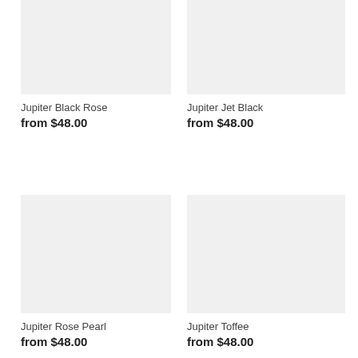[Figure (photo): Product image placeholder for Jupiter Black Rose - light gray rectangle]
Jupiter Black Rose
from $48.00
[Figure (photo): Product image placeholder for Jupiter Jet Black - light gray rectangle]
Jupiter Jet Black
from $48.00
[Figure (photo): Product image placeholder for Jupiter Rose Pearl - light gray rectangle]
Jupiter Rose Pearl
from $48.00
[Figure (photo): Product image placeholder for Jupiter Toffee - light gray rectangle]
Jupiter Toffee
from $48.00